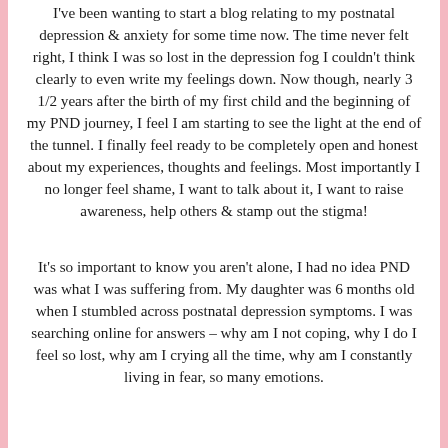I've been wanting to start a blog relating to my postnatal depression & anxiety for some time now. The time never felt right, I think I was so lost in the depression fog I couldn't think clearly to even write my feelings down. Now though, nearly 3 1/2 years after the birth of my first child and the beginning of my PND journey, I feel I am starting to see the light at the end of the tunnel. I finally feel ready to be completely open and honest about my experiences, thoughts and feelings. Most importantly I no longer feel shame, I want to talk about it, I want to raise awareness, help others & stamp out the stigma!
It's so important to know you aren't alone, I had no idea PND was what I was suffering from. My daughter was 6 months old when I stumbled across postnatal depression symptoms. I was searching online for answers – why am I not coping, why I do I feel so lost, why am I crying all the time, why am I constantly living in fear, so many emotions.